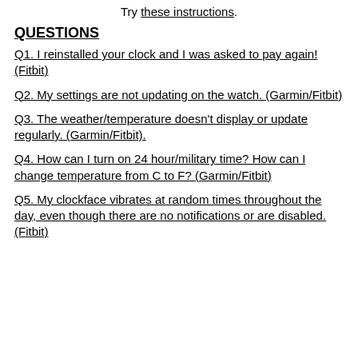Try these instructions.
QUESTIONS
Q1.  I reinstalled your clock and I was asked to pay again! (Fitbit)
Q2.  My settings are not updating on the watch. (Garmin/Fitbit)
Q3.  The weather/temperature doesn't display or update regularly. (Garmin/Fitbit).
Q4.  How can I turn on 24 hour/military time?  How can I change temperature from C to F? (Garmin/Fitbit)
Q5.  My clockface vibrates at random times throughout the day, even though there are no notifications or are disabled. (Fitbit)